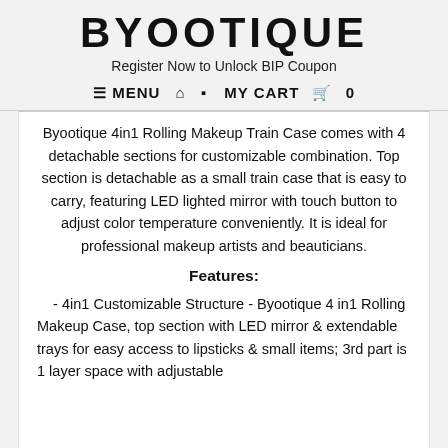BYOOTIQUE
Register Now to Unlock BIP Coupon
≡ MENU 🏠 👤 MY CART 🛒 0
Byootique 4in1 Rolling Makeup Train Case comes with 4 detachable sections for customizable combination. Top section is detachable as a small train case that is easy to carry, featuring LED lighted mirror with touch button to adjust color temperature conveniently. It is ideal for professional makeup artists and beauticians.
Features:
- 4in1 Customizable Structure - Byootique 4 in1 Rolling Makeup Case, top section with LED mirror & extendable trays for easy access to lipsticks & small items; 3rd part is 1 layer space with adjustable